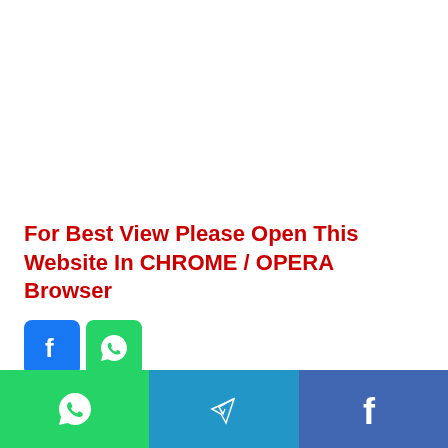For Best View Please Open This Website In CHROME / OPERA Browser
[Figure (other): Facebook and WhatsApp social sharing icon buttons]
लेबल: Income tax refunds
[Figure (other): Bottom social sharing bar with WhatsApp, Telegram, and Facebook icons]